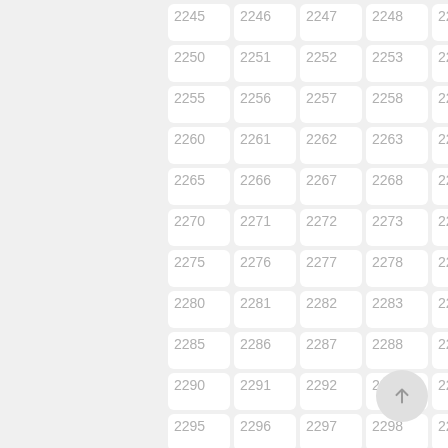[Figure (other): Grid of numbered cells from 2245 to 2299 arranged in 5 columns and 12 rows, each cell white with rounded corners on a light gray background. Numbers displayed in light gray text. A circular scroll-to-top button with an upward arrow is shown at bottom right.]